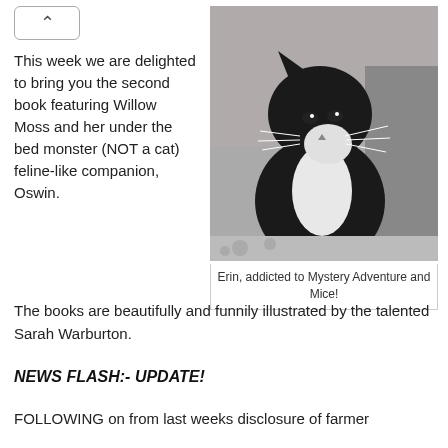[Figure (photo): Black and white photo of a tuxedo cat (black and white cat) looking upward, seated on a patterned surface with items in the background.]
Erin, addicted to Mystery Adventure and Mice!
This week we are delighted to bring you the second book featuring Willow Moss and her under the bed monster (NOT a cat) feline-like companion, Oswin.
The books are beautifully and funnily illustrated by the talented Sarah Warburton.
NEWS FLASH:- UPDATE!
FOLLOWING on from last weeks disclosure of farmer